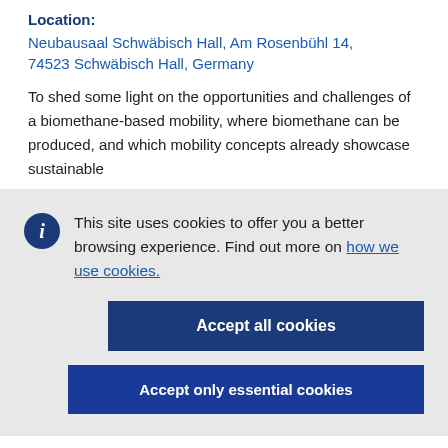Location: Neubausaal Schwäbisch Hall, Am Rosenbühl 14, 74523 Schwäbisch Hall, Germany
To shed some light on the opportunities and challenges of a biomethane-based mobility, where biomethane can be produced, and which mobility concepts already showcase sustainable
This site uses cookies to offer you a better browsing experience. Find out more on how we use cookies.
Accept all cookies
Accept only essential cookies